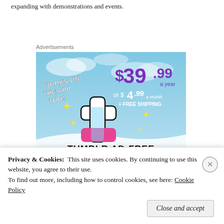expanding with demonstrations and events.
Advertisements
[Figure (illustration): Tumblr Ad-Free subscription advertisement. Sky blue background with clouds. Shows Tumblr 't' logo with sparkle stars. Text: WORKS ON THE APP TOO! $39.99 a year or $4.99 a month + FREE SHIPPING. TUMBLR AD-FREE at bottom.]
Privacy & Cookies:  This site uses cookies. By continuing to use this website, you agree to their use.
To find out more, including how to control cookies, see here: Cookie Policy
Close and accept